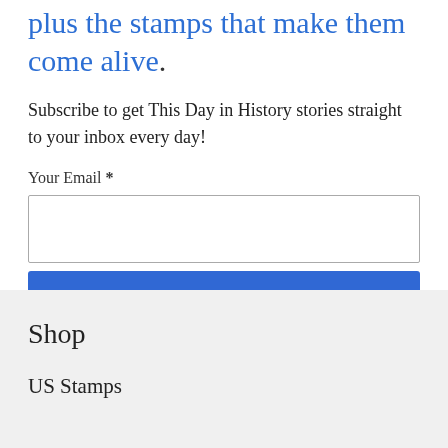plus the stamps that make them come alive.
Subscribe to get This Day in History stories straight to your inbox every day!
Your Email *
Subscribe
Shop
US Stamps